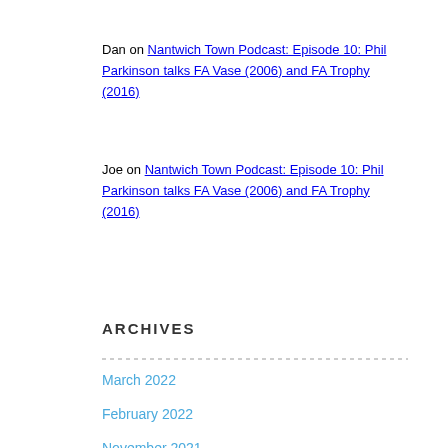Dan on Nantwich Town Podcast: Episode 10: Phil Parkinson talks FA Vase (2006) and FA Trophy (2016)
Joe on Nantwich Town Podcast: Episode 10: Phil Parkinson talks FA Vase (2006) and FA Trophy (2016)
ARCHIVES
March 2022
February 2022
November 2021